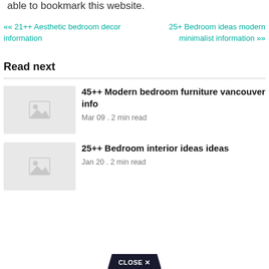able to bookmark this website.
«« 21++ Aesthetic bedroom decor information
25+ Bedroom ideas modern minimalist information »»
Read next
45++ Modern bedroom furniture vancouver info
Mar 09 . 2 min read
25++ Bedroom interior ideas ideas
Jan 20 . 2 min read